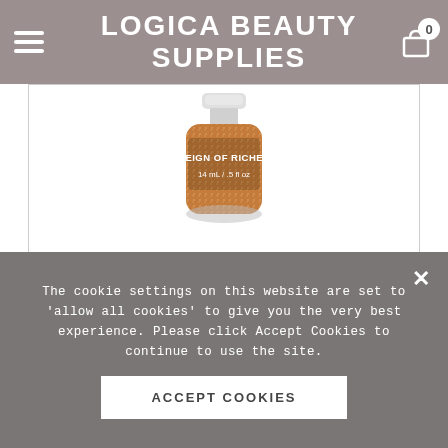LOGICA BEAUTY SUPPLIES
[Figure (photo): Nail polish bottle labeled 'REIGN OF RICHES 14 mL / .5 fl oz' with a glittery bronze/gold finish, shown in main product view]
[Figure (photo): Thumbnail of nail polish bottle with color dot swatch - bronze/copper shimmer color]
[Figure (photo): Thumbnail showing color swatch circle of the nail polish - metallic bronze/copper color]
The cookie settings on this website are set to 'allow all cookies' to give you the very best experience. Please click Accept Cookies to continue to use the site.
ACCEPT COOKIES